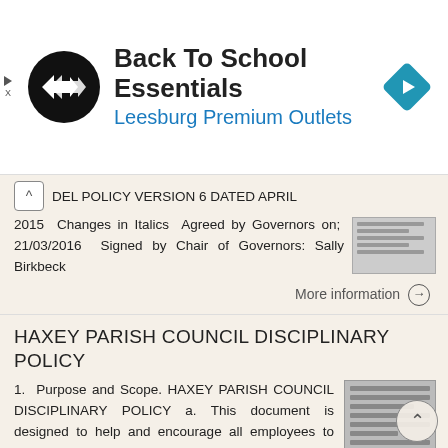[Figure (infographic): Advertisement banner for 'Back To School Essentials' at Leesburg Premium Outlets. Shows a circular black logo with a double-arrow symbol, a blue navigation diamond icon, and the ad text with a play/close control on the left.]
DEL POLICY VERSION 6 DATED APRIL 2015 Changes in Italics Agreed by Governors on; 21/03/2016 Signed by Chair of Governors: Sally Birkbeck
More information →
HAXEY PARISH COUNCIL DISCIPLINARY POLICY
1.  Purpose and Scope. HAXEY PARISH COUNCIL DISCIPLINARY POLICY a. This document is designed to help and encourage all employees to achieve and maintain the standards of conduct expected by the council,